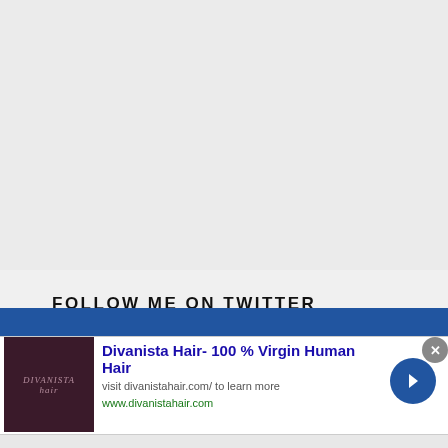[Figure (other): Large light gray empty area at the top of the page]
FOLLOW ME ON TWITTER
[Figure (logo): Infolinks logo on blue background bar]
[Figure (other): Advertisement banner: Divanista Hair- 100 % Virgin Human Hair. Image on left showing dark product photo with DIVANISTA text. Ad title, description, URL, and navigation arrow on right. Close button top right.]
Divanista Hair- 100 % Virgin Human Hair
visit divanistahair.com/ to learn more
www.divanistahair.com